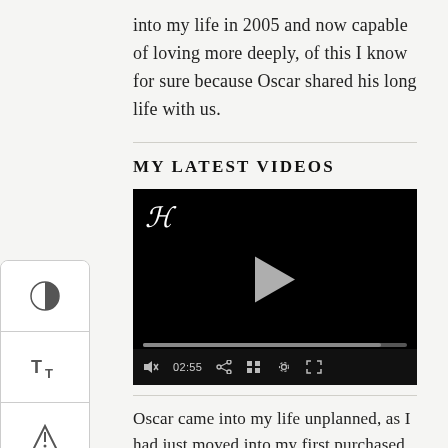into my life in 2005 and now capable of loving more deeply, of this I know for sure because Oscar shared his long life with us.
MY LATEST VIDEOS
[Figure (screenshot): Embedded video player with black background, play button, progress bar, and controls showing 02:55 timestamp]
Oscar came into my life unplanned, as I had just moved into my first purchased home in Portland and my mother heard from her local radio station about a